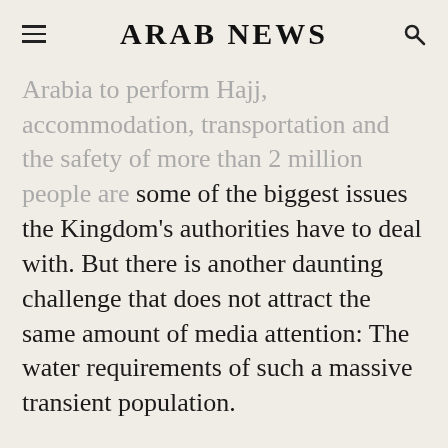ARAB NEWS
DUBAI: As pilgrims arrive in Saudi Arabia to perform Hajj, accommodation, transportation and the safety of more than 2 million people are some of the biggest issues the Kingdom's authorities have to deal with. But there is another daunting challenge that does not attract the same amount of media attention: The water requirements of such a massive transient population.
Last year, the total number of foreign and local pilgrims who performed Hajj touched the 2.4 million mark. To cope with the ever-increasing demand for potable water in Makkah and other holy sites, particularly during Hajj and Umrah, Saudi authorities recently launched six major projects with an estimated total cost of SR3.1 billion.